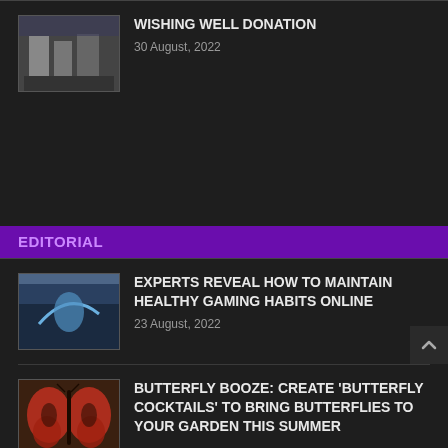WISHING WELL DONATION
30 August, 2022
EDITORIAL
EXPERTS REVEAL HOW TO MAINTAIN HEALTHY GAMING HABITS ONLINE
23 August, 2022
BUTTERFLY BOOZE: CREATE 'BUTTERFLY COCKTAILS' TO BRING BUTTERFLIES TO YOUR GARDEN THIS SUMMER
29 July, 2022